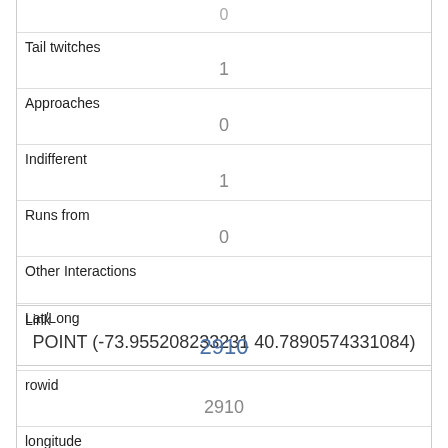| 0 |
| Tail twitches | 1 |
| Approaches | 0 |
| Indifferent | 1 |
| Runs from | 0 |
| Other Interactions |  |
| Lat/Long | POINT (-73.955208233231 40.7890574331084) |
| Link | 2910 |
| rowid | 2910 |
| longitude | -73.9506062997507 |
| latitude |  |